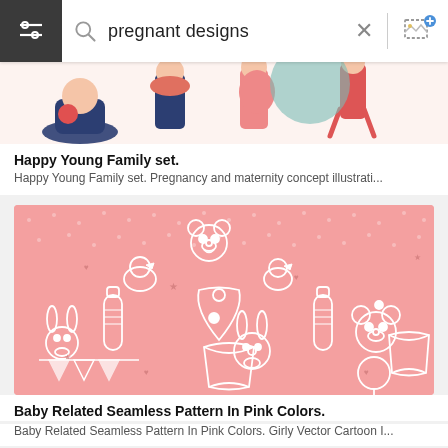[Figure (screenshot): Search bar with filter icon on dark background, magnifying glass icon, text input showing 'pregnant designs', X close button, and image search icon]
[Figure (illustration): Cropped bottom of Happy Young Family illustration showing pregnant woman, baby, and other figures in flat cartoon style]
Happy Young Family set.
Happy Young Family set. Pregnancy and maternity concept illustrati...
[Figure (illustration): Baby Related Seamless Pattern In Pink Colors showing baby items: teddy bears, bunnies, baby bottles, bibs, diapers, rattles, rubber ducks, hearts, stars on pink polka dot background]
Baby Related Seamless Pattern In Pink Colors.
Baby Related Seamless Pattern In Pink Colors. Girly Vector Cartoon I...
[Figure (illustration): Partial thumbnail of white background illustration (bottom left)]
[Figure (illustration): Partial thumbnail of pink background baby pattern illustration (bottom right)]